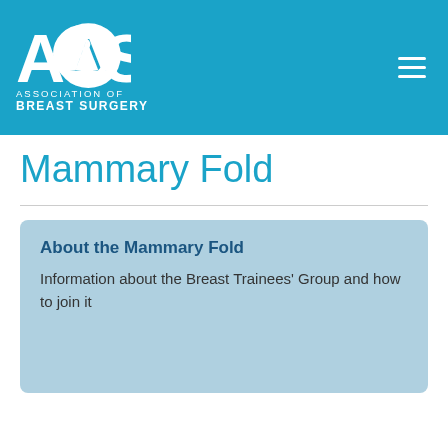ABS - ASSOCIATION OF BREAST SURGERY
Mammary Fold
About the Mammary Fold
Information about the Breast Trainees' Group and how to join it